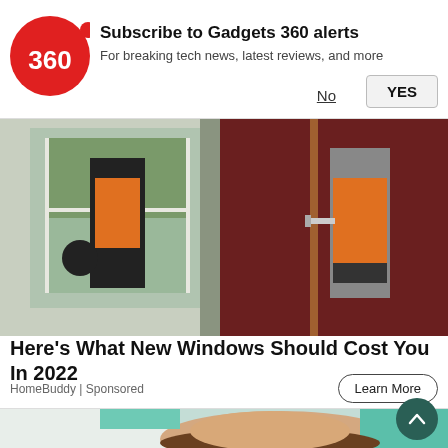[Figure (logo): Gadgets 360 red circular logo with '360' text]
Subscribe to Gadgets 360 alerts
For breaking tech news, latest reviews, and more
No
YES
[Figure (photo): Two workers in orange high-visibility vests installing or inspecting windows]
Here's What New Windows Should Cost You In 2022
HomeBuddy | Sponsored
Learn More
[Figure (photo): Young woman lying in dental chair, dentist in background, teal/green colored equipment visible]